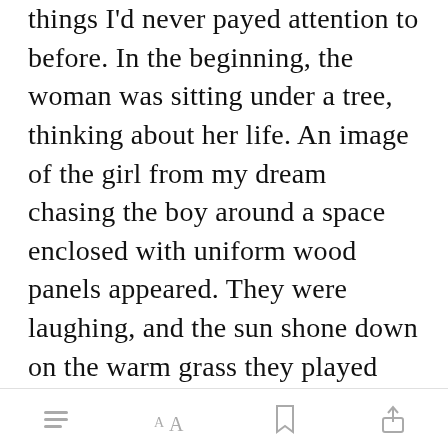things I'd never payed attention to before. In the beginning, the woman was sitting under a tree, thinking about her life. An image of the girl from my dream chasing the boy around a space enclosed with uniform wood panels appeared. They were laughing, and the sun shone down on the warm grass they played on. A young tree stood in the corner or the yard, beginning to find its way towards the sky. Even
[Figure (screenshot): Mobile app toolbar with list icon, font size (AA) icon, bookmark icon, and share icon]